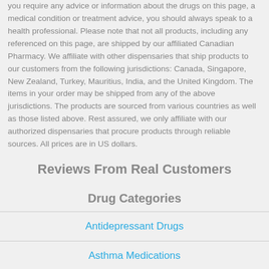you require any advice or information about the drugs on this page, a medical condition or treatment advice, you should always speak to a health professional. Please note that not all products, including any referenced on this page, are shipped by our affiliated Canadian Pharmacy. We affiliate with other dispensaries that ship products to our customers from the following jurisdictions: Canada, Singapore, New Zealand, Turkey, Mauritius, India, and the United Kingdom. The items in your order may be shipped from any of the above jurisdictions. The products are sourced from various countries as well as those listed above. Rest assured, we only affiliate with our authorized dispensaries that procure products through reliable sources. All prices are in US dollars.
Reviews From Real Customers
Drug Categories
Antidepressant Drugs
Asthma Medications
Cancer Medications